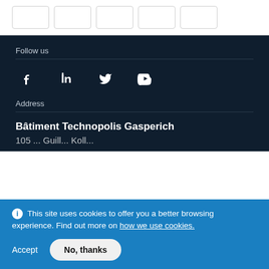[Figure (other): Row of five card/thumbnail placeholder boxes with borders]
Follow us
[Figure (other): Social media icons: Facebook, LinkedIn, Twitter, YouTube]
Address
Bâtiment Technopolis Gasperich
105 ... Guill... Koll...
This site uses cookies to offer you a better browsing experience. Find out more on how we use cookies.